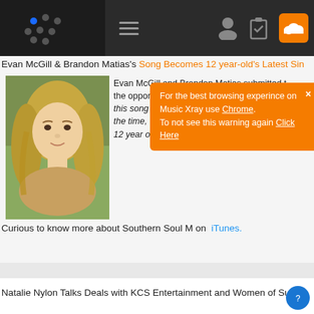Music Xray navigation bar with logo, hamburger menu, user icon, clipboard icon, SoundCloud icon
Evan McGill & Brandon Matias's Song Becomes 12 year-old's Latest Sin
[Figure (photo): Portrait photo of a young blonde teenage girl outdoors]
Evan McGill and Brandon Matias submitted t the opportunity "Searching for Pop/RnB Pop. this song would probably fit a 12-15 year-old the time, I did not know what kind of up and 12 year old artist, Savanna Grace, just dropp
For the best browsing experince on Music Xray use Chrome. To not see this warning again Click Here
Curious to know more about Southern Soul M on iTunes.
Natalie Nylon Talks Deals with KCS Entertainment and Women of Substa